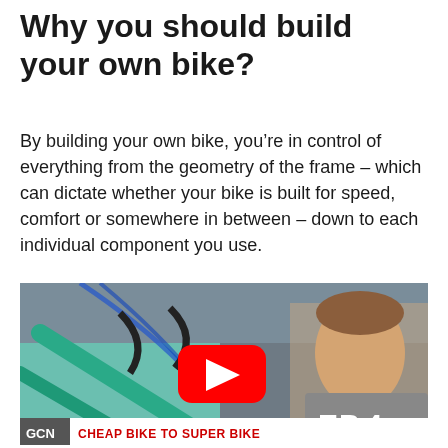Why you should build your own bike?
By building your own bike, you’re in control of everything from the geometry of the frame – which can dictate whether your bike is built for speed, comfort or somewhere in between – down to each individual component you use.
[Figure (screenshot): YouTube video thumbnail showing a man with an open mouth expression next to road bikes in a workshop. A red YouTube play button is overlaid in the center. Text 'EP.4' appears in white on the right. Bottom bar shows GCN logo and text 'CHEAP BIKE TO SUPER BIKE'.]